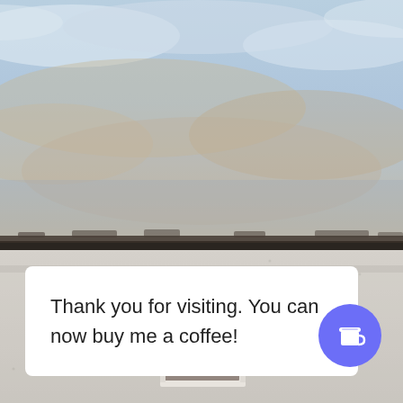[Figure (photo): Photograph of the exterior wall of a white stucco building with a single dark-paned window near center, and a dramatic cloudy blue sky above the roofline.]
Thank you for visiting. You can now buy me a coffee!
[Figure (illustration): Purple circular button with a white takeaway coffee cup icon.]